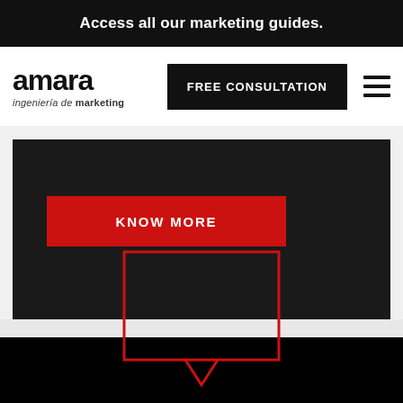Access all our marketing guides.
[Figure (logo): Amara logo — bold black 'amara' wordmark with tagline 'ingeniería de marketing' below]
FREE CONSULTATION
KNOW MORE
[Figure (illustration): Red outlined speech/chat bubble icon on black background]